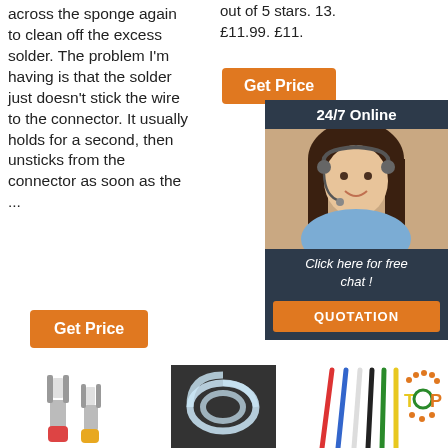across the sponge again to clean off the excess solder. The problem I'm having is that the solder just doesn't stick the wire to the connector. It usually holds for a second, then unsticks from the connector as soon as the ...
out of 5 stars. 13. £11.99. £11.
[Figure (other): Orange 'Get Price' button (top right area)]
[Figure (other): Dark panel with '24/7 Online' header, customer service woman with headset photo, 'Click here for free chat!' text, and orange QUOTATION button]
[Figure (other): Orange 'Get Price' button (bottom left)]
[Figure (photo): Fork/spade electrical connectors (yellow and red insulated)]
[Figure (photo): Clear silicone tubing coiled on dark background]
[Figure (photo): Colored cable ties (red, blue, white, black, green, yellow) with TOP logo/brand mark]